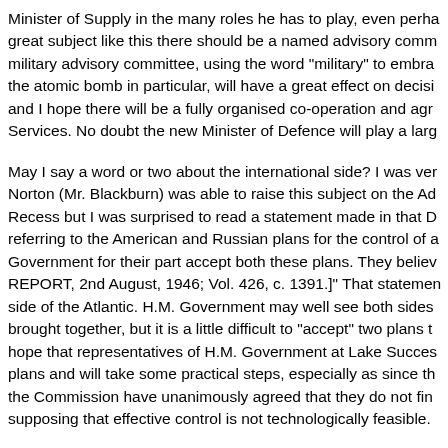Minister of Supply in the many roles he has to play, even perha great subject like this there should be a named advisory comm military advisory committee, using the word "military" to embra the atomic bomb in particular, will have a great effect on decisi and I hope there will be a fully organised co-operation and agr Services. No doubt the new Minister of Defence will play a larg
May I say a word or two about the international side? I was ver Norton (Mr. Blackburn) was able to raise this subject on the Ad Recess but I was surprised to read a statement made in that D referring to the American and Russian plans for the control of a Government for their part accept both these plans. They believ REPORT, 2nd August, 1946; Vol. 426, c. 1391.]" That statemen side of the Atlantic. H.M. Government may well see both sides brought together, but it is a little difficult to "accept" two plans t hope that representatives of H.M. Government at Lake Succes plans and will take some practical steps, especially as since th the Commission have unanimously agreed that they do not fin supposing that effective control is not technologically feasible.
Atomic energy in peace can bring great benefits, but there is